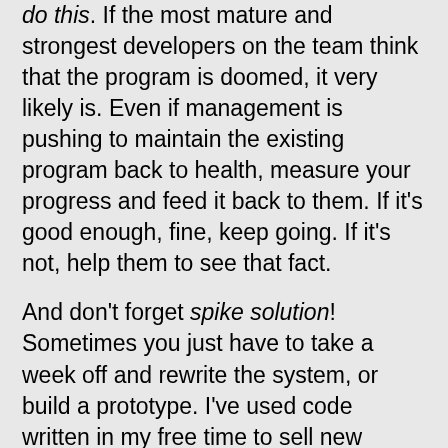do this. If the most mature and strongest developers on the team think that the program is doomed, it very likely is. Even if management is pushing to maintain the existing program back to health, measure your progress and feed it back to them. If it's good enough, fine, keep going. If it's not, help them to see that fact.
And don't forget spike solution! Sometimes you just have to take a week off and rewrite the system, or build a prototype. I've used code written in my free time to sell new ideas, and I'm sure you have too.
Final Comments You've asked some hard